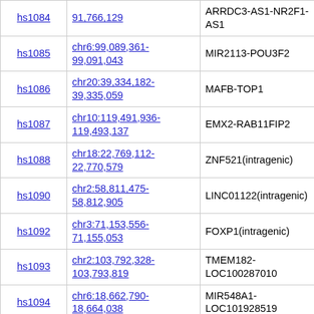| ID | Position | Gene | Region |
| --- | --- | --- | --- |
| hs1084 | chr...:91,766,129 | ARRDC3-AS1-NR2F1-AS1 | 79,813,2... |
| hs1085 | chr6:99,089,361-99,091,043 | MIR2113-POU3F2 | chr4:22,
22,763,9... |
| hs1086 | chr20:39,334,182-39,335,059 | MAFB-TOP1 | chr2:160,
160,208... |
| hs1087 | chr10:119,491,936-119,493,137 | EMX2-RAB11FIP2 | chr19:59,
59,714,4... |
| hs1088 | chr18:22,769,112-22,770,579 | ZNF521(intragenic) | chr18:13,
13,971,2... |
| hs1090 | chr2:58,811,475-58,812,905 | LINC01122(intragenic) | chr11:25,
25,962,1... |
| hs1092 | chr3:71,153,556-71,155,053 | FOXP1(intragenic) | chr6:99,
99,018,6... |
| hs1093 | chr2:103,792,328-103,793,819 | TMEM182-LOC100287010 | chr1:41,
41,224,1... |
| hs1094 | chr6:18,662,790-18,664,038 | MIR548A1-LOC101928519 | chr13:47,
47,494,1... |